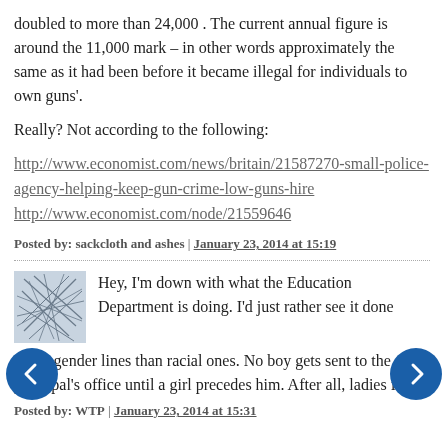doubled to more than 24,000 . The current annual figure is around the 11,000 mark – in other words approximately the same as it had been before it became illegal for individuals to own guns'.
Really? Not according to the following:
http://www.economist.com/news/britain/21587270-small-police-agency-helping-keep-gun-crime-low-guns-hire
http://www.economist.com/node/21559646
Posted by: sackcloth and ashes | January 23, 2014 at 15:19
[Figure (illustration): Abstract scribble avatar image for commenter WTP]
Hey, I'm down with what the Education Department is doing. I'd just rather see it done along gender lines than racial ones. No boy gets sent to the principal's office until a girl precedes him. After all, ladies first.
Posted by: WTP | January 23, 2014 at 15:31